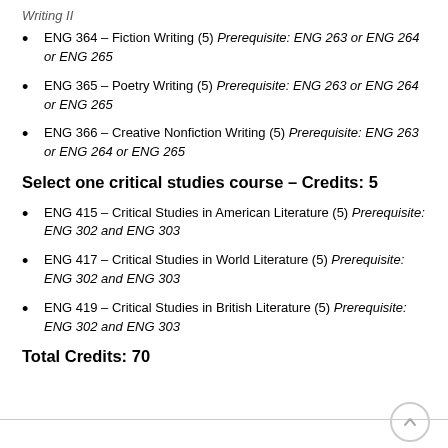Writing II
ENG 364 – Fiction Writing (5) Prerequisite: ENG 263 or ENG 264 or ENG 265
ENG 365 – Poetry Writing (5) Prerequisite: ENG 263 or ENG 264 or ENG 265
ENG 366 – Creative Nonfiction Writing (5) Prerequisite: ENG 263 or ENG 264 or ENG 265
Select one critical studies course – Credits: 5
ENG 415 – Critical Studies in American Literature (5) Prerequisite: ENG 302 and ENG 303
ENG 417 – Critical Studies in World Literature (5) Prerequisite: ENG 302 and ENG 303
ENG 419 – Critical Studies in British Literature (5) Prerequisite: ENG 302 and ENG 303
Total Credits: 70